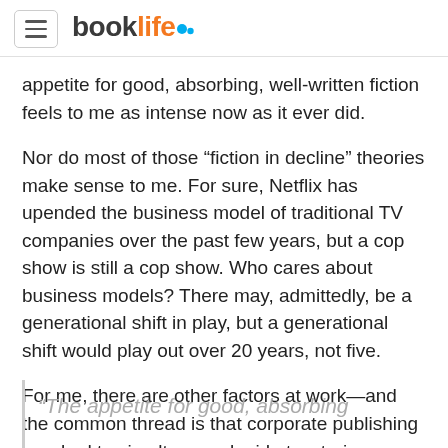booklife
appetite for good, absorbing, well-written fiction feels to me as intense now as it ever did.
Nor do most of those “fiction in decline” theories make sense to me. For sure, Netflix has upended the business model of traditional TV companies over the past few years, but a cop show is still a cop show. Who cares about business models? There may, admittedly, be a generational shift in play, but a generational shift would play out over 20 years, not five.
For me, there are other factors at work—and the common thread is that corporate publishing is asked to simultaneously ride two trains running on ever-diverging tracks.
“The appetite for good, absorbing…